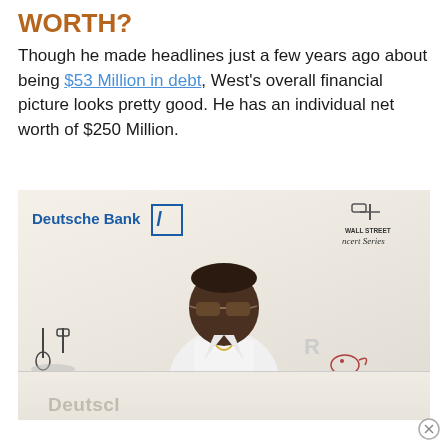WORTH?
Though he made headlines just a few years ago about being $53 Million in debt, West's overall financial picture looks pretty good. He has an individual net worth of $250 Million.
[Figure (photo): Photo of a man in a white suit wearing sunglasses at a Wall Street Concert Series event with Deutsche Bank branding in the background]